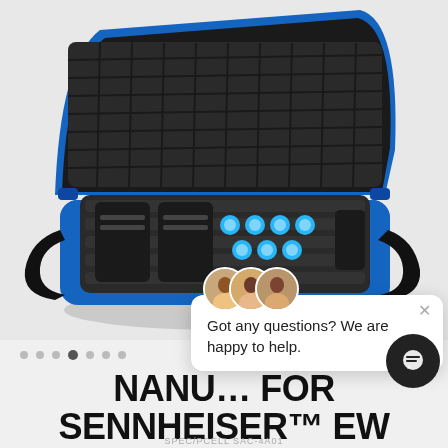[Figure (photo): Blue protective hard case (open, with foam interior) containing Sennheiser EW wireless microphone components — transmitters, receivers, and blue-capped capsules — photographed on a light gray background.]
Got any questions? We are happy to help.
NANU… FOR SENNHEISER™ EW WIRELESS MIC